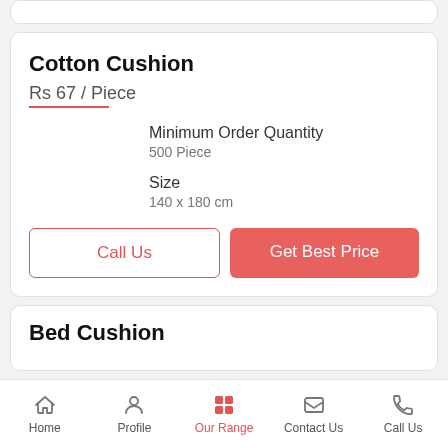Cotton Cushion
Rs 67 / Piece
Minimum Order Quantity
500 Piece
Size
140 x 180 cm
Call Us
Get Best Price
Bed Cushion
Home | Profile | Our Range | Contact Us | Call Us